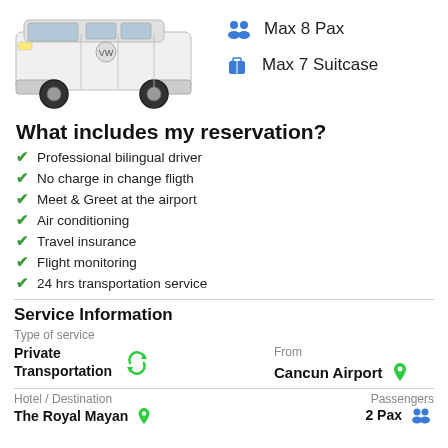[Figure (photo): White Volkswagen Transporter van, front three-quarter view on white background]
Max 8 Pax
Max 7 Suitcase
What includes my reservation?
Professional bilingual driver
No charge in change fligth
Meet & Greet at the airport
Air conditioning
Travel insurance
Flight monitoring
24 hrs transportation service
Service Information
Type of service
Private Transportation
From
Cancun Airport
Hotel / Destination
Passengers
The Royal Mayan
2 Pax